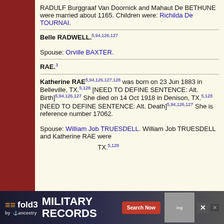RADULF Burggraaf Van Doornick and Mahaut De BETHUNE were married about 1165. Children were: Richilda De TOURNAI.
Belle RADWELL.[5,94,126,127]
Spouse: Orville BAXTER.
RAE.[3]
Katherine RAE[5,94,126,127,128] was born on 23 Jun 1883 in Belleville, TX.[5,128] [NEED TO DEFINE SENTENCE: Alt. Birth][5,94,126,127] She died on 14 Oct 1918 in Denison, TX.[5,128] [NEED TO DEFINE SENTENCE: Alt. Death][5,94,126,127] She is reference number 17062.
Spouse: William Job TRUESDELL. William Job TRUESDELL and Katherine RAE were ... TX.[5,128]
[Figure (other): Advertisement banner for fold3 Military Records by Ancestry]